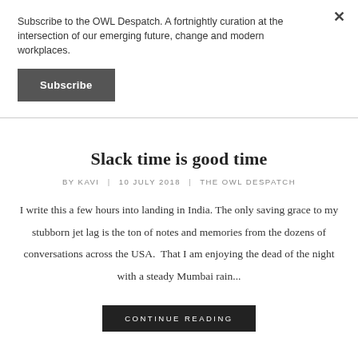Subscribe to the OWL Despatch. A fortnightly curation at the intersection of our emerging future, change and modern workplaces.
Subscribe
Slack time is good time
BY KAVI | 10 JULY 2018 | THE OWL DESPATCH
I write this a few hours into landing in India. The only saving grace to my stubborn jet lag is the ton of notes and memories from the dozens of conversations across the USA.  That I am enjoying the dead of the night with a steady Mumbai rain...
CONTINUE READING